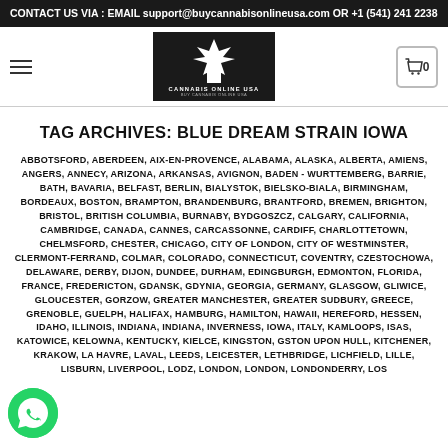CONTACT US VIA : EMAIL support@buycannabisonlineusa.com OR +1 (541) 241 2238
[Figure (logo): Cannabis Online USA logo — white cannabis leaf with house icon on black background]
TAG ARCHIVES: BLUE DREAM STRAIN IOWA
ABBOTSFORD, ABERDEEN, AIX-EN-PROVENCE, ALABAMA, ALASKA, ALBERTA, AMIENS, ANGERS, ANNECY, ARIZONA, ARKANSAS, AVIGNON, BADEN - WURTTEMBERG, BARRIE, BATH, BAVARIA, BELFAST, BERLIN, BIALYSTOK, BIELSKO-BIALA, BIRMINGHAM, BORDEAUX, BOSTON, BRAMPTON, BRANDENBURG, BRANTFORD, BREMEN, BRIGHTON, BRISTOL, BRITISH COLUMBIA, BURNABY, BYDGOSZCZ, CALGARY, CALIFORNIA, CAMBRIDGE, CANADA, CANNES, CARCASSONNE, CARDIFF, CHARLOTTETOWN, CHELMSFORD, CHESTER, CHICAGO, CITY OF LONDON, CITY OF WESTMINSTER, CLERMONT-FERRAND, COLMAR, COLORADO, CONNECTICUT, COVENTRY, CZESTOCHOWA, DELAWARE, DERBY, DIJON, DUNDEE, DURHAM, EDINGBURGH, EDMONTON, FLORIDA, FRANCE, FREDERICTON, GDANSK, GDYNIA, GEORGIA, GERMANY, GLASGOW, GLIWICE, GLOUCESTER, GORZOW, GREATER MANCHESTER, GREATER SUDBURY, GREECE, GRENOBLE, GUELPH, HALIFAX, HAMBURG, HAMILTON, HAWAII, HEREFORD, HESSEN, IDAHO, ILLINOIS, INDIANA, INDIANA, INVERNESS, IOWA, ITALY, KAMLOOPS, ISAS, KATOWICE, KELOWNA, KENTUCKY, KIELCE, KINGSTON, GSTON UPON HULL, KITCHENER, KRAKOW, LA HAVRE, LAVAL, LEEDS, LEICESTER, LETHBRIDGE, LICHFIELD, LILLE, LISBURN, LIVERPOOL, LODZ, LONDON, LONDON, LONDONDERRY, LOS